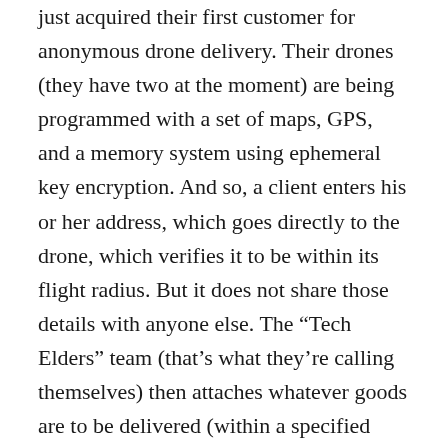just acquired their first customer for anonymous drone delivery. Their drones (they have two at the moment) are being programmed with a set of maps, GPS, and a memory system using ephemeral key encryption. And so, a client enters his or her address, which goes directly to the drone, which verifies it to be within its flight radius. But it does not share those details with anyone else. The “Tech Elders” team (that’s what they’re calling themselves) then attaches whatever goods are to be delivered (within a specified weight limit) and sends the machine on its way. They are never told where it will go. Once the delivery is completed, the keys that encrypted the address are automatically dropped from the system. It is known that the drone delivered something somewhere, but only the purchaser knows where.